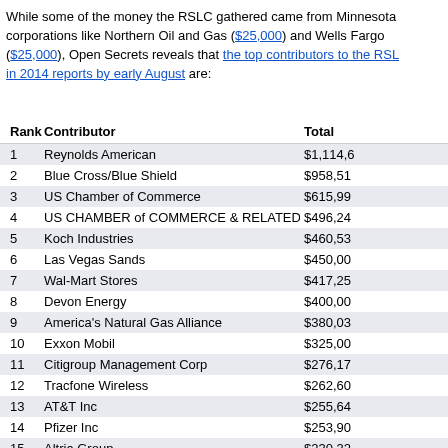While some of the money the RSLC gathered came from Minnesota corporations like Northern Oil and Gas ($25,000) and Wells Fargo ($25,000), Open Secrets reveals that the top contributors to the RSLC in 2014 reports by early August are:
| Rank | Contributor | Total |
| --- | --- | --- |
| 1 | Reynolds American | $1,114,6... |
| 2 | Blue Cross/Blue Shield | $958,51... |
| 3 | US Chamber of Commerce | $615,99... |
| 4 | US CHAMBER of COMMERCE & RELATED ENTIT | $496,24... |
| 5 | Koch Industries | $460,53... |
| 6 | Las Vegas Sands | $450,00... |
| 7 | Wal-Mart Stores | $417,25... |
| 8 | Devon Energy | $400,00... |
| 9 | America's Natural Gas Alliance | $380,03... |
| 10 | Exxon Mobil | $325,00... |
| 11 | Citigroup Management Corp | $276,17... |
| 12 | Tracfone Wireless | $262,60... |
| 13 | AT&T Inc | $255,64... |
| 14 | Pfizer Inc | $253,90... |
| 15 | Altria Group | $230,32... |
| 16 | COMCAST FINANCIAL AGENCY Corp | $225,28... |
| 17 | Intuit Inc | $200,59... |
| 18 | ABC FREE ENTERPRISE ALLIANCE | $200,00... |